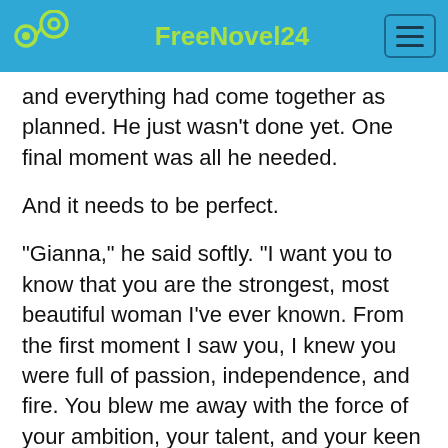FreeNovel24
and everything had come together as planned. He just wasn't done yet. One final moment was all he needed.
And it needs to be perfect.
“Gianna,” he said softly. “I want you to know that you are the strongest, most beautiful woman I’ve ever known. From the first moment I saw you, I knew you were full of passion, independence, and fire. You blew me away with the force of your ambition, your talent, and your keen sense of justice.”
Gianna turned slowly until she was facing